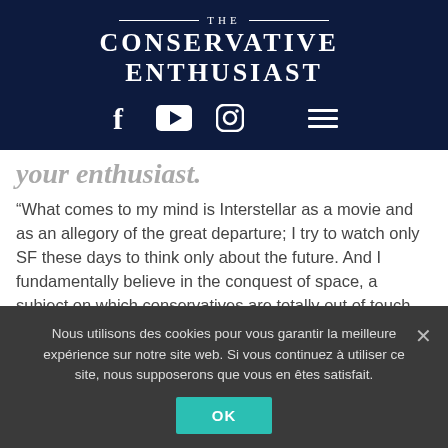THE CONSERVATIVE ENTHUSIAST
your enthusiast.
“What comes to my mind is Interstellar as a movie and as an allegory of the great departure; I try to watch only SF these days to think only about the future. And I fundamentally believe in the conquest of space, a subject on which conservatives are totally out of touch.
Nous utilisons des cookies pour vous garantir la meilleure expérience sur notre site web. Si vous continuez à utiliser ce site, nous supposerons que vous en êtes satisfait.